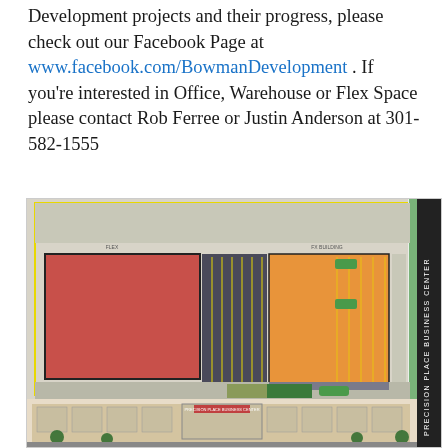Development projects and their progress, please check out our Facebook Page at www.facebook.com/BowmanDevelopment . If you're interested in Office, Warehouse or Flex Space please contact Rob Ferree or Justin Anderson at 301-582-1555
[Figure (engineering-diagram): Site plan / architectural rendering of Precision Place Business Center showing a top-down site layout with two large buildings (one red, one orange), parking areas, and a front elevation rendering of the building facade at the bottom.]